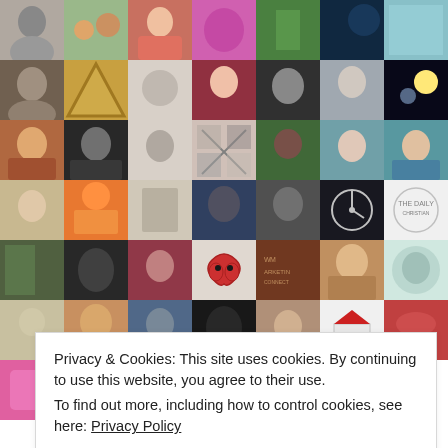[Figure (screenshot): Grid of profile photos and avatars from a social/blogging platform, arranged in 7 columns and 7 rows. Contains user profile pictures, logos, nature photos, and illustrated avatars.]
Privacy & Cookies: This site uses cookies. By continuing to use this website, you agree to their use.
To find out more, including how to control cookies, see here: Privacy Policy
Close and accept